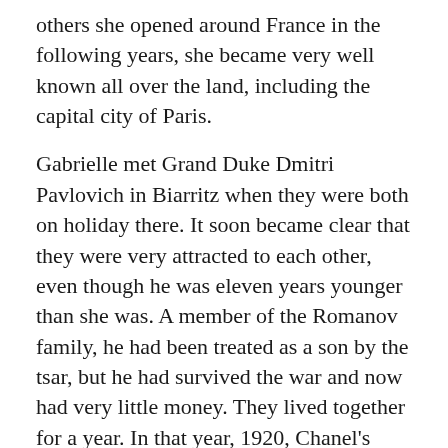others she opened around France in the following years, she became very well known all over the land, including the capital city of Paris.
Gabrielle met Grand Duke Dmitri Pavlovich in Biarritz when they were both on holiday there. It soon became clear that they were very attracted to each other, even though he was eleven years younger than she was. A member of the Romanov family, he had been treated as a son by the tsar, but he had survived the war and now had very little money. They lived together for a year. In that year, 1920, Chanel's most successful product was created: the no. 5 perfume.
Until then, all perfumes had been based on